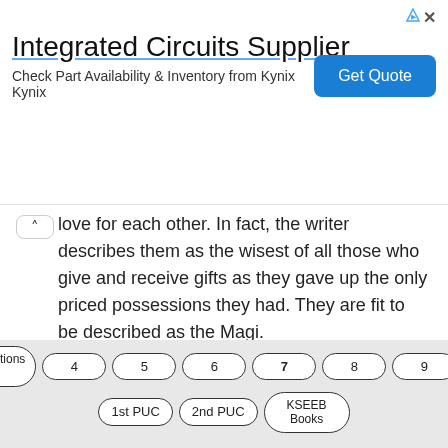[Figure (other): Advertisement banner for Integrated Circuits Supplier by Kynix with a Get Quote button]
love for each other. In fact, the writer describes them as the wisest of all those who give and receive gifts as they gave up the only priced possessions they had. They are fit to be described as the Magi.
Question 2.
Write on the appropriateness of the title.
Answers:
1. The gift of the Magi was an offering to the Lord.
[Figure (other): Navigation pill buttons: KSEEB Solutions Class 3, 4, 5, 6, 7, 8, 9, 10, 1st PUC, 2nd PUC, KSEEB Books]